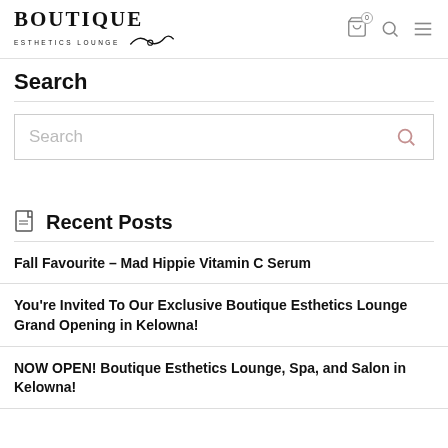BOUTIQUE ESTHETICS LOUNGE
Search
Search
Recent Posts
Fall Favourite – Mad Hippie Vitamin C Serum
You're Invited To Our Exclusive Boutique Esthetics Lounge Grand Opening in Kelowna!
NOW OPEN! Boutique Esthetics Lounge, Spa, and Salon in Kelowna!